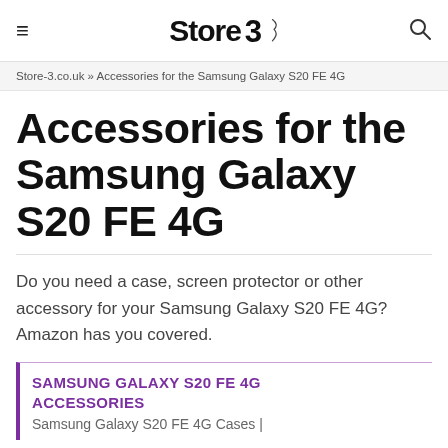Store 3
Store-3.co.uk » Accessories for the Samsung Galaxy S20 FE 4G
Accessories for the Samsung Galaxy S20 FE 4G
Do you need a case, screen protector or other accessory for your Samsung Galaxy S20 FE 4G? Amazon has you covered.
SAMSUNG GALAXY S20 FE 4G ACCESSORIES
Samsung Galaxy S20 FE 4G Cases |